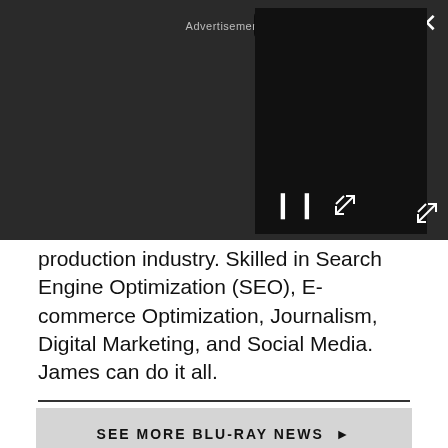[Figure (screenshot): Video ad player overlay with dark background, PLAY SOUND button, pause and expand controls, X close button, and fullscreen expand icon. Text reads 'Advertisement' partially visible.]
production industry. Skilled in Search Engine Optimization (SEO), E-commerce Optimization, Journalism, Digital Marketing, and Social Media. James can do it all.
[Figure (infographic): SEE MORE BLU-RAY NEWS button with right-pointing triangle arrow on gray background]
[Figure (screenshot): Advertisement banner: Pet Food, Products, Supplies at Low Prices - Pay the lowest prices on pet supplies at Chewy.com | chewy.com | with arrow button]